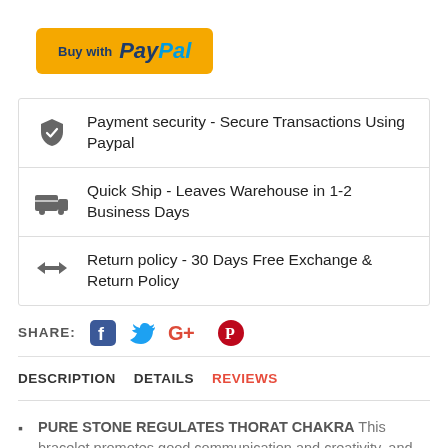[Figure (screenshot): Buy with PayPal button — yellow/gold rounded rectangle with 'Buy with' in dark blue and 'PayPal' in blue italic bold]
Payment security - Secure Transactions Using Paypal
Quick Ship - Leaves Warehouse in 1-2 Business Days
Return policy - 30 Days Free Exchange & Return Policy
SHARE: [Facebook] [Twitter] [Google+] [Pinterest]
DESCRIPTION   DETAILS   REVIEWS
PURE STONE REGULATES THORAT CHAKRA This bracelet promotes good communication and creativity, and